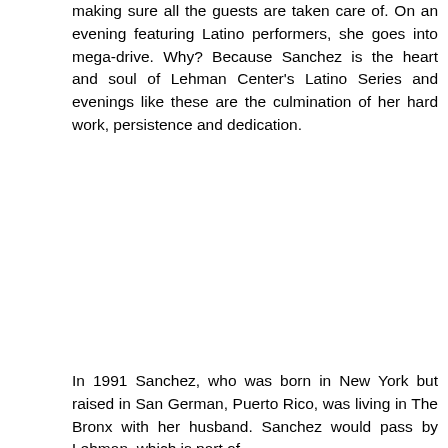making sure all the guests are taken care of. On an evening featuring Latino performers, she goes into mega-drive. Why? Because Sanchez is the heart and soul of Lehman Center's Latino Series and evenings like these are the culmination of her hard work, persistence and dedication.
In 1991 Sanchez, who was born in New York but raised in San German, Puerto Rico, was living in The Bronx with her husband. Sanchez would pass by Lehman, which is part of